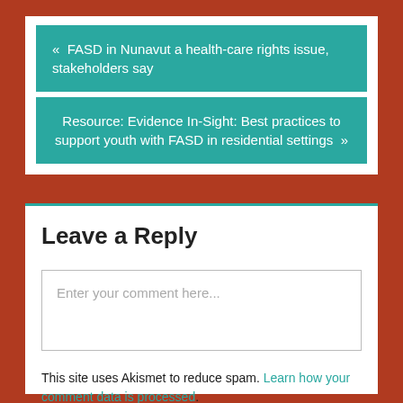« FASD in Nunavut a health-care rights issue, stakeholders say
Resource: Evidence In-Sight: Best practices to support youth with FASD in residential settings »
Leave a Reply
Enter your comment here...
This site uses Akismet to reduce spam. Learn how your comment data is processed.